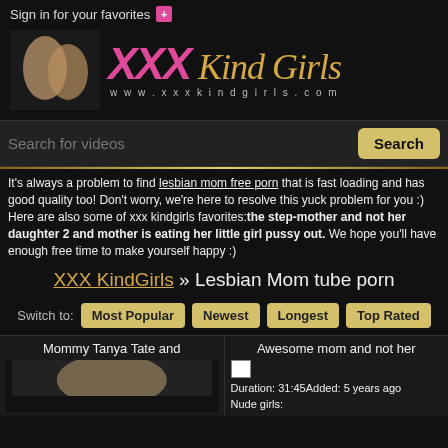Sign in for your favorites +
[Figure (logo): XXX KindGirls logo with two women and text 'XXX Kind Girls www.xxxkindgirls.com']
Search for videos
It's always a problem to find lesbian mom free porn that is fast loading and has good quality too! Don't worry, we're here to resolve this yuck problem for you :) Here are also some of xxx kindgirls favorites: the step-mother and not her daughter 2 and mother is eating her little girl pussy out. We hope you'll have enough free time to make yourself happy :)
XXX KindGirls » Lesbian Mom tube porn
Switch to: Most Popular | Newest | Longest | Top Rated
Mommy Tanya Tate and
Awesome mom and not her
Duration: 31:45Added: 5 years ago
Nude girls: